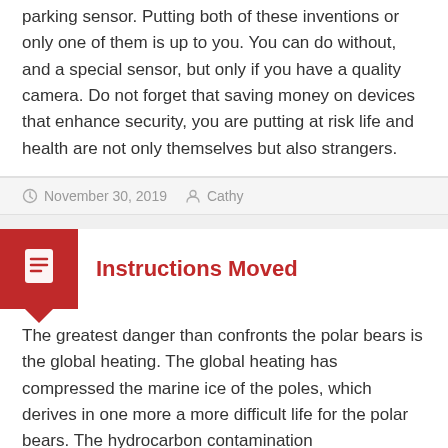parking sensor. Putting both of these inventions or only one of them is up to you. You can do without, and a special sensor, but only if you have a quality camera. Do not forget that saving money on devices that enhance security, you are putting at risk life and health are not only themselves but also strangers.
November 30, 2019   Cathy
Instructions Moved
The greatest danger than confronts the polar bears is the global heating. The global heating has compressed the marine ice of the poles, which derives in one more a more difficult life for the polar bears. The hydrocarbon contamination